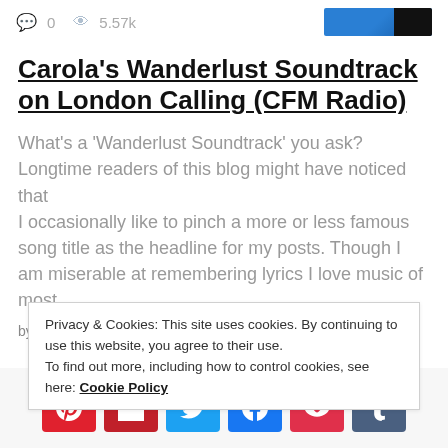0  5.57k
Carola's Wanderlust Soundtrack on London Calling (CFM Radio)
What's a 'Wanderlust Soundtrack' you ask? Longtime readers of this blog might have noticed that I occasionally like to pinch a more or less famous song title as the headline for my posts. Though I am miserable at remembering lyrics I love music of most
by Carola Bieniek 2016-05-24
Privacy & Cookies: This site uses cookies. By continuing to use this website, you agree to their use.
To find out more, including how to control cookies, see here: Cookie Policy